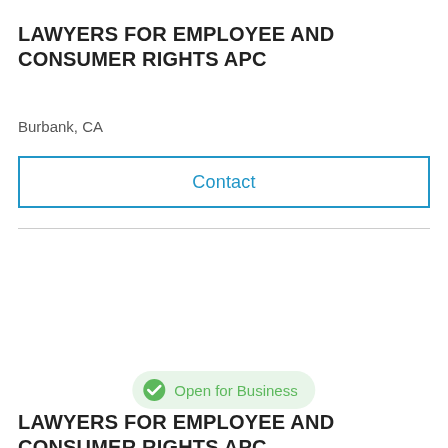LAWYERS FOR EMPLOYEE AND CONSUMER RIGHTS APC
Burbank, CA
Contact
Open for Business
LAWYERS FOR EMPLOYEE AND CONSUMER RIGHTS APC